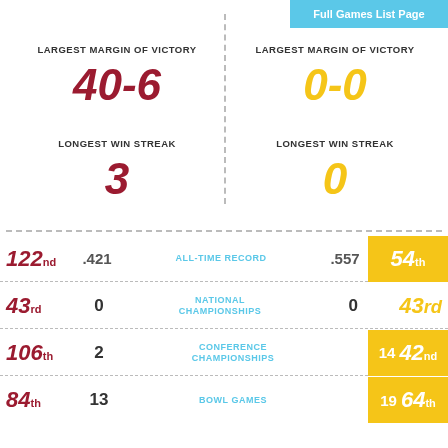Full Games List Page
LARGEST MARGIN OF VICTORY
40-6
LONGEST WIN STREAK
3
LARGEST MARGIN OF VICTORY
0-0
LONGEST WIN STREAK
0
| Rank | Value | Category | Value | Rank |
| --- | --- | --- | --- | --- |
| 122nd | .421 | ALL-TIME RECORD | .557 | 54th |
| 43rd | 0 | NATIONAL CHAMPIONSHIPS | 0 | 43rd |
| 106th | 2 | CONFERENCE CHAMPIONSHIPS | 14 | 42nd |
| 84th | 13 | BOWL GAMES | 19 | 64th |